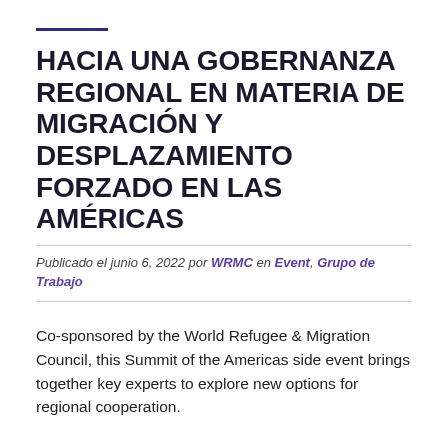HACIA UNA GOBERNANZA REGIONAL EN MATERIA DE MIGRACIÓN Y DESPLAZAMIENTO FORZADO EN LAS AMÉRICAS
Publicado el junio 6, 2022 por WRMC en Event, Grupo de Trabajo
Co-sponsored by the World Refugee & Migration Council, this Summit of the Americas side event brings together key experts to explore new options for regional cooperation.